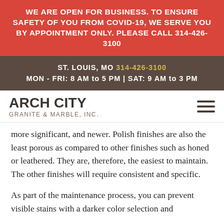WE ARE OPEN FOR BUSINESS. TO ENSURE SAFETY OF YOU FROM COVID-19, WE SERVE YOU BY APPOINTMENT ONLY. PLEASE CALL 314-426-3100
ST. LOUIS, MO 314-426-3100
MON - FRI: 8 AM to 5 PM | SAT: 9 AM to 3 PM
[Figure (logo): Arch City Granite & Marble, Inc. logo text with hamburger menu icon]
more significant, and newer. Polish finishes are also the least porous as compared to other finishes such as honed or leathered. They are, therefore, the easiest to maintain. The other finishes will require consistent and specific.
As part of the maintenance process, you can prevent visible stains with a darker color selection and